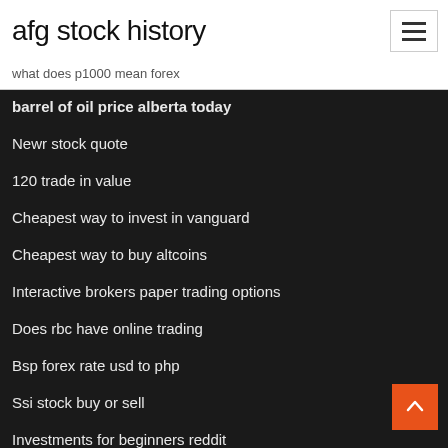afg stock history
what does p1000 mean forex
barrel of oil price alberta today
Newr stock quote
120 trade in value
Cheapest way to invest in vanguard
Cheapest way to buy altcoins
Interactive brokers paper trading options
Does rbc have online trading
Bsp forex rate usd to php
Ssi stock buy or sell
Investments for beginners reddit